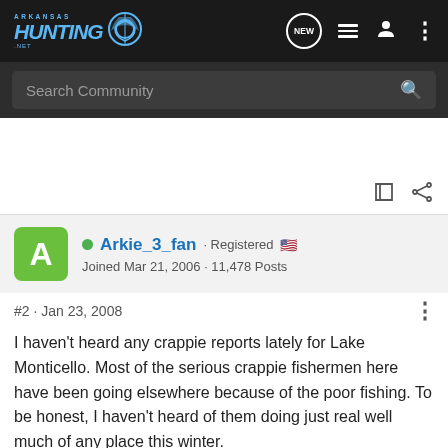Arkansas Hunting .NET
Search Community
Arkie_3_fan · Registered
Joined Mar 21, 2006 · 11,478 Posts
#2 · Jan 23, 2008
I haven't heard any crappie reports lately for Lake Monticello. Most of the serious crappie fishermen here have been going elsewhere because of the poor fishing. To be honest, I haven't heard of them doing just real well much of any place this winter.